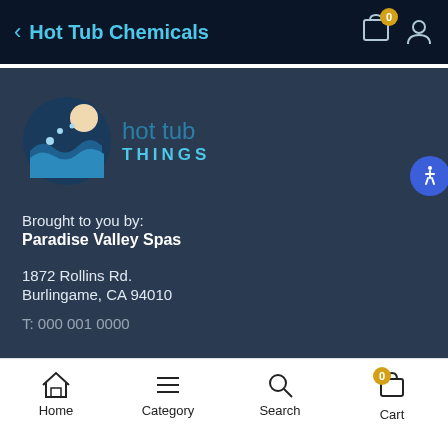Hot Tub Chemicals
[Figure (logo): Hot Tub Things circular logo with wave design]
Brought to you by:
Paradise Valley Spas
1872 Rollins Rd.
Burlingame, CA 94010
Home  Category  Search  Cart